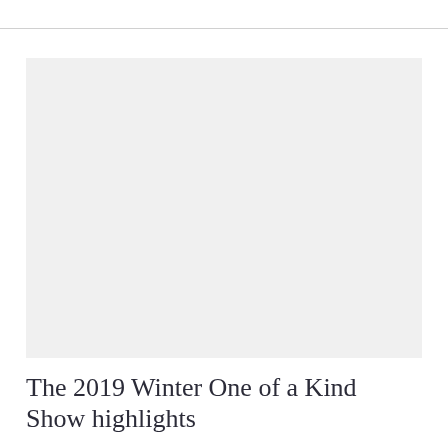[Figure (photo): Large light grey image placeholder rectangle]
The 2019 Winter One of a Kind Show highlights